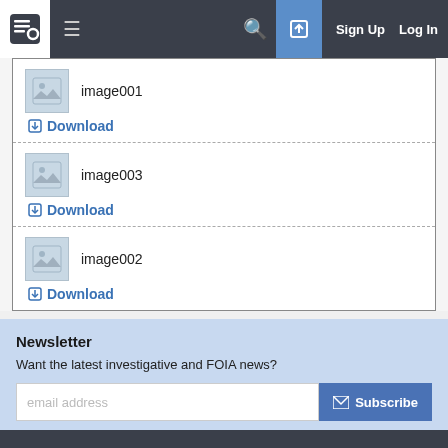Logo | Menu | Search | Sign Up | Log In
image001 Download
image003 Download
image002 Download
Newsletter
Want the latest investigative and FOIA news?
email address Subscribe